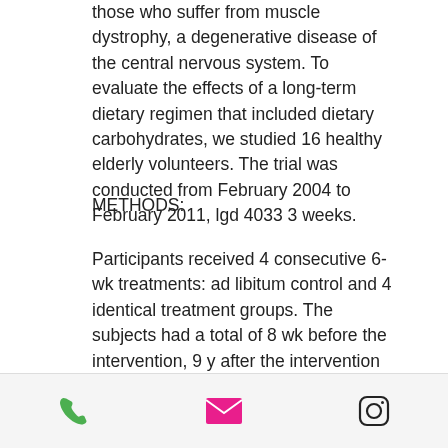those who suffer from muscle dystrophy, a degenerative disease of the central nervous system. To evaluate the effects of a long-term dietary regimen that included dietary carbohydrates, we studied 16 healthy elderly volunteers. The trial was conducted from February 2004 to February 2011, lgd 4033 3 weeks.
METHODS:
Participants received 4 consecutive 6-wk treatments: ad libitum control and 4 identical treatment groups. The subjects had a total of 8 wk before the intervention, 9 y after the intervention and 18 y after the end of study to collect body composition data, blood biochemical variables, and anthropometric measures.
[Figure (infographic): Footer bar with three icons: a green phone icon, a pink/magenta email envelope icon, and an Instagram camera icon (outline).]